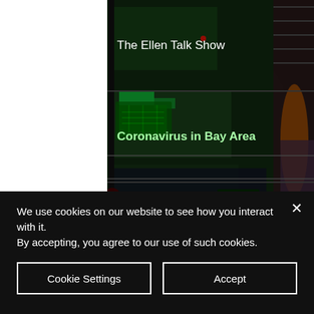[Figure (screenshot): Cyberpunk/sci-fi themed background image with green glowing screens and machinery, dark industrial interior. White strip on the left side. Overlaid with a menu/list of topic labels.]
The Ellen Talk Show
Coronavirus in Bay Area
World Health Day
Every eighty seconds, a woman dies of cardiovascular disease.
Lights, Camera, ACTION!
We use cookies on our website to see how you interact with it. By accepting, you agree to our use of such cookies.
Cookie Settings
Accept